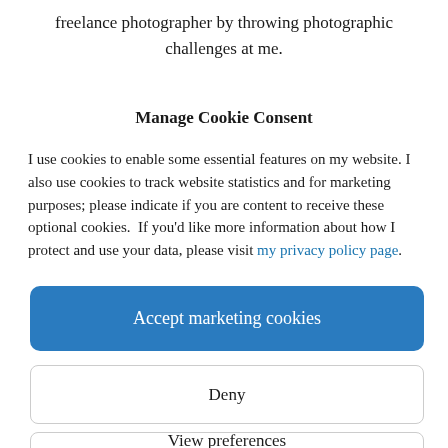freelance photographer by throwing photographic challenges at me.
Manage Cookie Consent
I use cookies to enable some essential features on my website. I also use cookies to track website statistics and for marketing purposes; please indicate if you are content to receive these optional cookies. If you'd like more information about how I protect and use your data, please visit my privacy policy page.
Accept marketing cookies
Deny
View preferences
(something weatherproof) Olympus OM-D E-M1 Mk II to record the journey, and